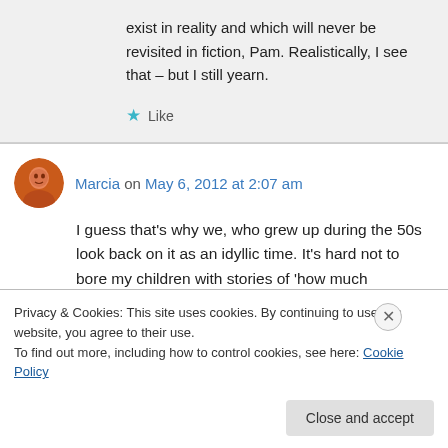exist in reality and which will never be revisited in fiction, Pam. Realistically, I see that – but I still yearn.
Like
Marcia on May 6, 2012 at 2:07 am
I guess that's why we, who grew up during the 50s look back on it as an idyllic time. It's hard not to bore my children with stories of 'how much
Privacy & Cookies: This site uses cookies. By continuing to use this website, you agree to their use.
To find out more, including how to control cookies, see here: Cookie Policy
Close and accept